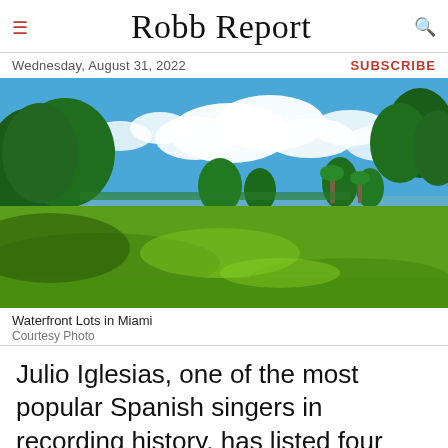Robb Report
Wednesday, August 31, 2022
SUBSCRIBE
[Figure (photo): Lush green waterfront property in Miami with large trees, open lawn, blue sky with white clouds, and water visible in the background]
Waterfront Lots in Miami
Courtesy Photo
Julio Iglesias, one of the most popular Spanish singers in recording history, has listed four